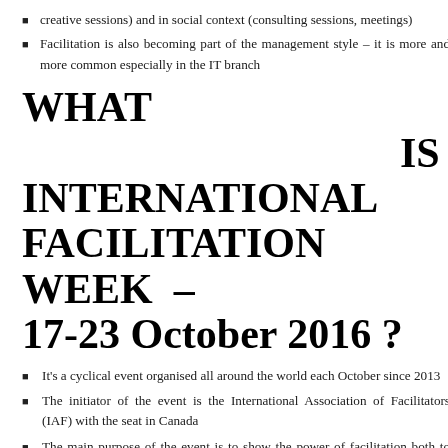creative sessions) and in social context (consulting sessions, meetings)
Facilitation is also becoming part of the management style – it is more and more common especially in the IT branch
WHAT IS INTERNATIONAL FACILITATION WEEK – 17-23 October 2016 ?
It's a cyclical event organised all around the world each October since 2013
The initiator of the event is the International Association of Facilitators (IAF) with the seat in Canada
The main purpose of the event is to show the power of facilitation both to people who are not familiar with it/ do not use it, and for facilitators – people who use this approach while working with